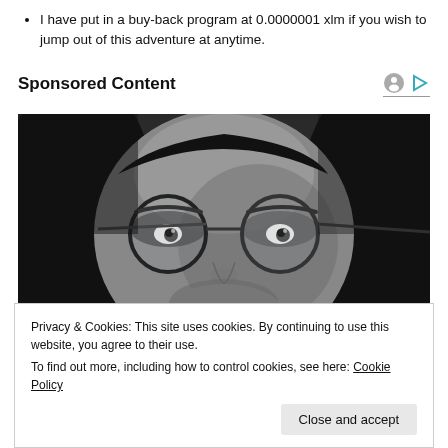I have put in a buy-back program at 0.0000001 xlm if you wish to jump out of this adventure at anytime.
Sponsored Content
[Figure (photo): Black and white close-up portrait of a young man with long hair and round glasses, looking directly at the camera.]
Privacy & Cookies: This site uses cookies. By continuing to use this website, you agree to their use.
To find out more, including how to control cookies, see here: Cookie Policy
Close and accept